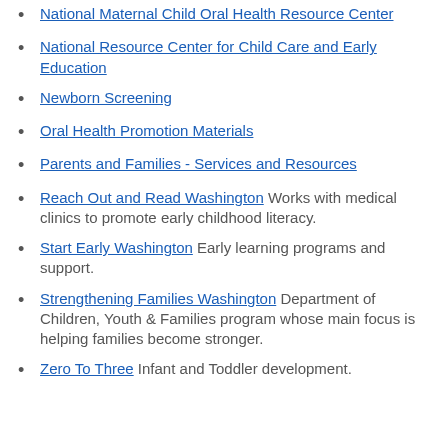National Maternal Child Oral Health Resource Center
National Resource Center for Child Care and Early Education
Newborn Screening
Oral Health Promotion Materials
Parents and Families - Services and Resources
Reach Out and Read Washington Works with medical clinics to promote early childhood literacy.
Start Early Washington Early learning programs and support.
Strengthening Families Washington Department of Children, Youth & Families program whose main focus is helping families become stronger.
Zero To Three Infant and Toddler development.